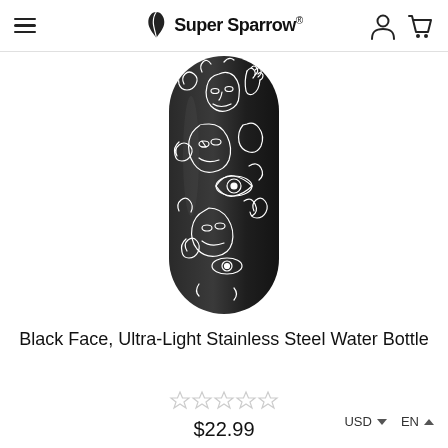Super Sparrow®
[Figure (photo): A dark matte black cylindrical stainless steel water bottle with white line-art illustrations of abstract faces, eyes, and hands etched across the surface.]
Black Face, Ultra-Light Stainless Steel Water Bottle
★★★★★ (empty stars rating)
$22.99  USD ∨  EN ∧